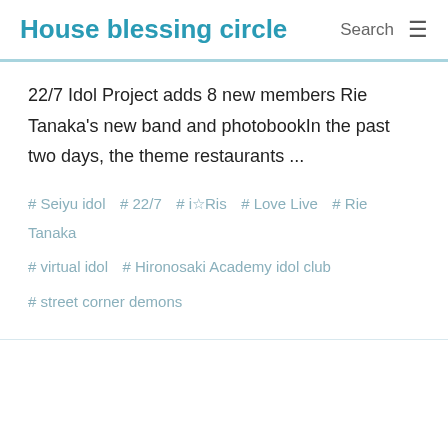House blessing circle
22/7 Idol Project adds 8 new members Rie Tanaka's new band and photobookIn the past two days, the theme restaurants ...
# Seiyu idol  # 22/7  # i☆Ris  # Love Live  # Rie Tanaka  # virtual idol  # Hironosaki Academy idol club  # street corner demons